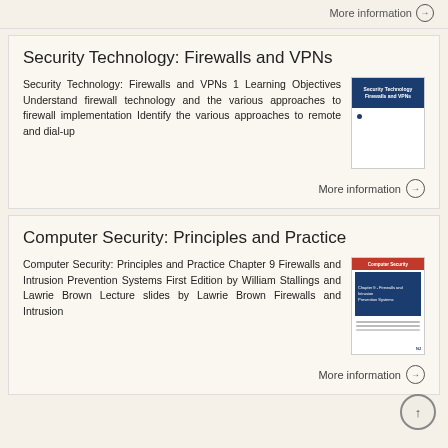More information →
Security Technology: Firewalls and VPNs
Security Technology: Firewalls and VPNs 1 Learning Objectives Understand firewall technology and the various approaches to firewall implementation Identify the various approaches to remote and dial-up
[Figure (illustration): Thumbnail of book cover: Security Technology Firewalls and VPNs]
More information →
Computer Security: Principles and Practice
Computer Security: Principles and Practice Chapter 9 Firewalls and Intrusion Prevention Systems First Edition by William Stallings and Lawrie Brown Lecture slides by Lawrie Brown Firewalls and Intrusion
[Figure (illustration): Thumbnail of book cover: Computer Security Principles and Practice Chapter 9 Firewalls and Intrusion Prevention Systems]
More information →